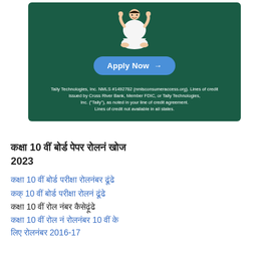[Figure (illustration): Tally Technologies advertisement banner with dark green background, a meditating figure illustration, an 'Apply Now' button, and disclaimer text.]
कक्षा 10 वीं बोर्ड पेपर रोलनं खोज 2023
कक्षा 10 वीं बोर्ड परीक्षा रोलनंबर ढूंढे
कक्षा 10 वीं बोर्ड परीक्षा रोलनं ढूंढे
कक्षा 10 वीं रोल नंबर कैसेढ़ूंढे
कक्षा 10 वीं रोल नं रोलनंबर 10 वीं के लिए रोलनंबर 2016-17